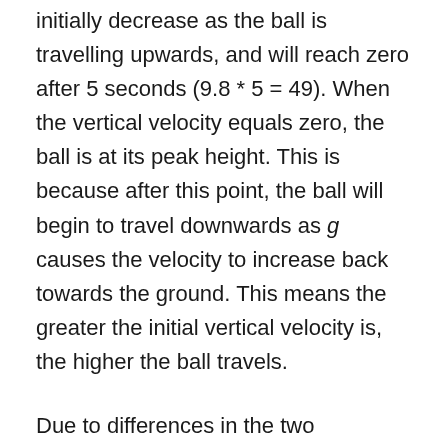initially decrease as the ball is travelling upwards, and will reach zero after 5 seconds (9.8 * 5 = 49). When the vertical velocity equals zero, the ball is at its peak height. This is because after this point, the ball will begin to travel downwards as g causes the velocity to increase back towards the ground. This means the greater the initial vertical velocity is, the higher the ball travels.
Due to differences in the two components – horizontal and vertical – of the velocity, the angle at which the ball is hit will affect the shape of the path. Let's suppose the golf ball is struck